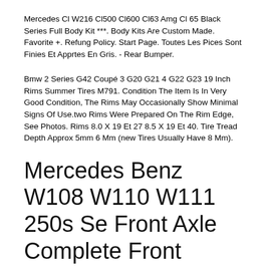Mercedes Cl W216 Cl500 Cl600 Cl63 Amg Cl 65 Black Series Full Body Kit ***. Body Kits Are Custom Made. Favorite +. Refung Policy. Start Page. Toutes Les Pices Sont Finies Et Apprtes En Gris. - Rear Bumper.
Bmw 2 Series G42 Coupé 3 G20 G21 4 G22 G23 19 Inch Rims Summer Tires M791. Condition The Item Is In Very Good Condition, The Rims May Occasionally Show Minimal Signs Of Use.two Rims Were Prepared On The Rim Edge, See Photos. Rims 8.0 X 19 Et 27 8.5 X 19 Et 40. Tire Tread Depth Approx 5mm 6 Mm (new Tires Usually Have 8 Mm).
Mercedes Benz W108 W110 W111 250s Se Front Axle Complete Front
Offered Ismercedes Benz W108 W110 250s Se Front Axle Complete Front Axle Condition Used, Ok. Both Shock Absorbers Defective. Scope Of Deliverymercedes Benz W108 W110 250s Se Front Axle Complete Front Axle The Contact Details Can Be Found In The "legal Seller Information" Section. !!! Please